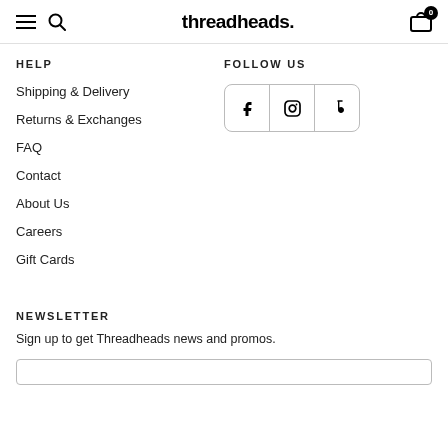threadheads.
HELP
FOLLOW US
Shipping & Delivery
Returns & Exchanges
FAQ
Contact
About Us
Careers
Gift Cards
NEWSLETTER
Sign up to get Threadheads news and promos.